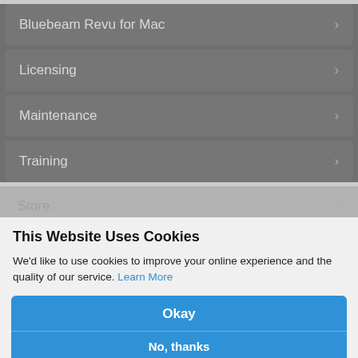Bluebeam Revu for Mac
Licensing
Maintenance
Training
Store
This Website Uses Cookies
We'd like to use cookies to improve your online experience and the quality of our service. Learn More
General Questions
What are the differences between Revu Standard, CAD and eXtreme®?
Okay
No, thanks
With Revu® Standard, you have access to a complete set of markup, editing and collaboration features, as well as plugins for Microsoft® Office and the Bluebeam® PDF